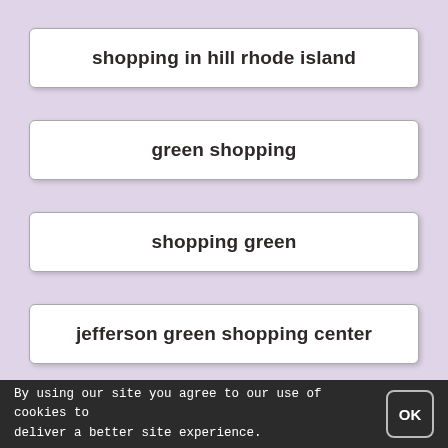shopping in hill rhode island
green shopping
shopping green
jefferson green shopping center
By using our site you agree to our use of cookies to deliver a better site experience.